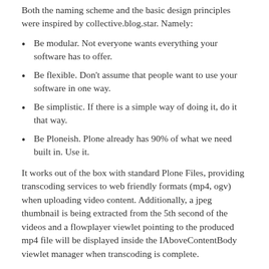Both the naming scheme and the basic design principles were inspired by collective.blog.star. Namely:
Be modular. Not everyone wants everything your software has to offer.
Be flexible. Don't assume that people want to use your software in one way.
Be simplistic. If there is a simple way of doing it, do it that way.
Be Ploneish. Plone already has 90% of what we need built in. Use it.
It works out of the box with standard Plone Files, providing transcoding services to web friendly formats (mp4, ogv) when uploading video content. Additionally, a jpeg thumbnail is being extracted from the 5th second of the videos and a flowplayer viewlet pointing to the produced mp4 file will be displayed inside the IAboveContentBody viewlet manager when transcoding is complete.
Transcode.star can be easily configured through the Plone